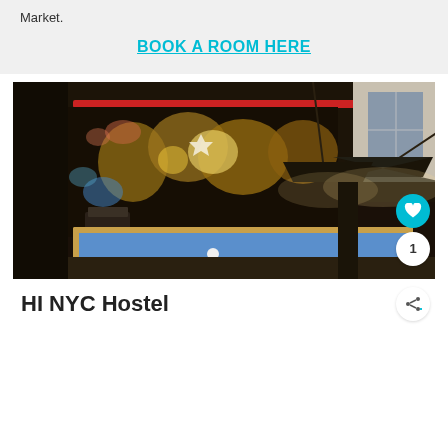Market.
BOOK A ROOM HERE
[Figure (photo): Interior photo of a hostel game room with a pool/billiards table with blue felt, dramatic black pendant lamps, and a large ornate world map mural on the dark wall behind it.]
HI NYC Hostel